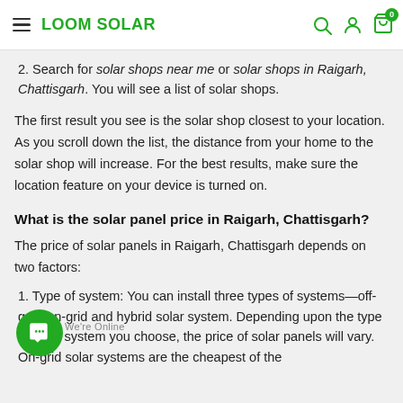LOOM SOLAR
2. Search for solar shops near me or solar shops in Raigarh, Chattisgarh. You will see a list of solar shops.
The first result you see is the solar shop closest to your location. As you scroll down the list, the distance from your home to the solar shop will increase. For the best results, make sure the location feature on your device is turned on.
What is the solar panel price in Raigarh, Chattisgarh?
The price of solar panels in Raigarh, Chattisgarh depends on two factors:
1. Type of system: You can install three types of systems—off-grid, on-grid and hybrid solar system. Depending upon the type of solar system you choose, the price of solar panels will vary. On-grid solar systems are the cheapest of the